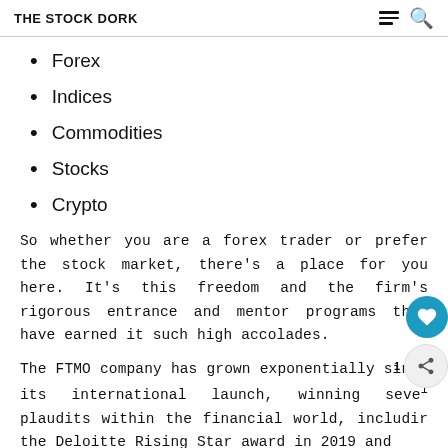THE STOCK DORK
Forex
Indices
Commodities
Stocks
Crypto
So whether you are a forex trader or prefer the stock market, there's a place for you here. It's this freedom and the firm's rigorous entrance and mentor programs that have earned it such high accolades.
The FTMO company has grown exponentially since its international launch, winning several plaudits within the financial world, including the Deloitte Rising Star award in 2019 and